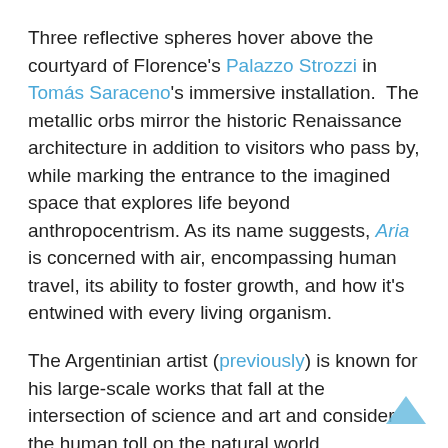Three reflective spheres hover above the courtyard of Florence's Palazzo Strozzi in Tomás Saraceno's immersive installation.  The metallic orbs mirror the historic Renaissance architecture in addition to visitors who pass by, while marking the entrance to the imagined space that explores life beyond anthropocentrism. As its name suggests, Aria is concerned with air, encompassing human travel, its ability to foster growth, and how it's entwined with every living organism.
The Argentinian artist (previously) is known for his large-scale works that fall at the intersection of science and art and consider the human toll on the natural world. Throughout Aria are various experiences dealing with contemporary environmental issues: Glass forms hang from the ceiling and house Tillandsia plants, which need only